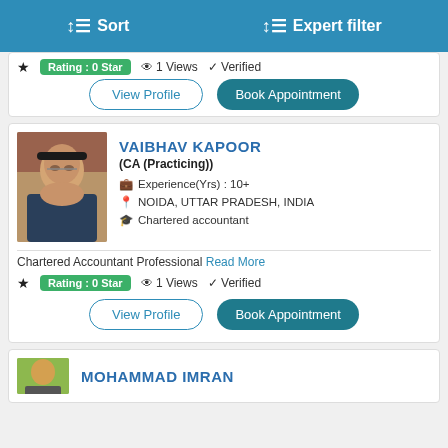Sort   Expert filter
Rating : 0 Star   1 Views   Verified
View Profile   Book Appointment
VAIBHAV KAPOOR
(CA (Practicing))
Experience(Yrs) : 10+
NOIDA, UTTAR PRADESH, INDIA
Chartered accountant
Chartered Accountant Professional Read More
Rating : 0 Star   1 Views   Verified
View Profile   Book Appointment
MOHAMMAD IMRAN